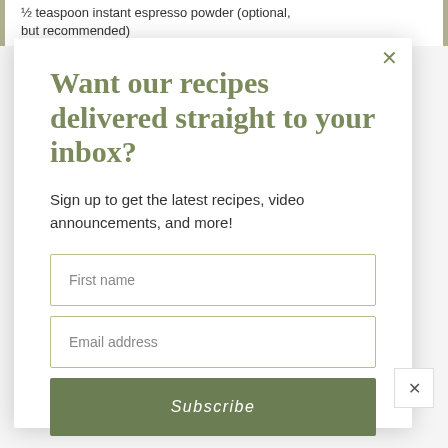½ teaspoon instant espresso powder (optional, but recommended)
Want our recipes delivered straight to your inbox?
Sign up to get the latest recipes, video announcements, and more!
First name
Email address
Subscribe